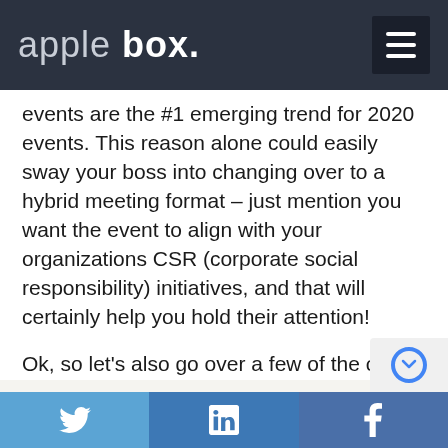apple box.
events are the #1 emerging trend for 2020 events. This reason alone could easily sway your boss into changing over to a hybrid meeting format – just mention you want the event to align with your organizations CSR (corporate social responsibility) initiatives, and that will certainly help you hold their attention!
Ok, so let's also go over a few of the cons.
Twitter | LinkedIn | Facebook